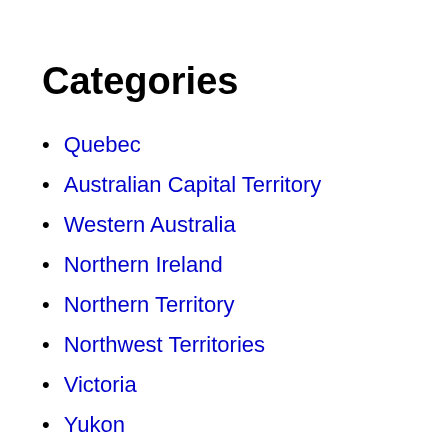Categories
Quebec
Australian Capital Territory
Western Australia
Northern Ireland
Northern Territory
Northwest Territories
Victoria
Yukon
Prince Edward Island